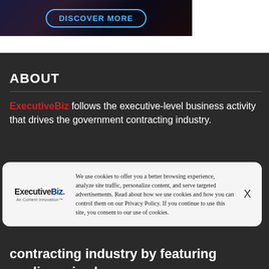[Figure (illustration): Dark banner with glowing light trails background and 'DISCOVER MORE' button with cyan border]
ABOUT
ExecutiveBiz follows the executive-level business activity that drives the government contracting industry.
[Figure (other): Cookie consent modal with ExecutiveBiz logo, cookie usage text, and X close button]
contracting industry by featuring medium-sized